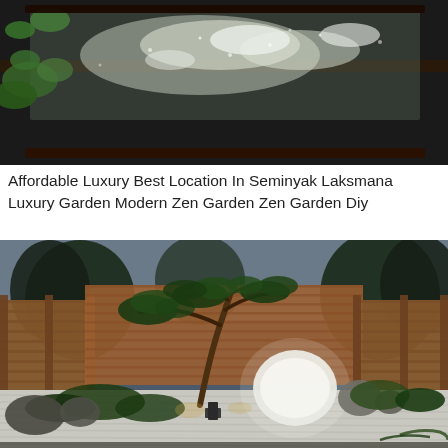[Figure (photo): Close-up photo of a dark reflective surface, possibly a black garden water feature or table with green leaves visible and water reflections creating a shimmering effect.]
Affordable Luxury Best Location In Seminyak Laksmana Luxury Garden Modern Zen Garden Zen Garden Diy
[Figure (photo): A beautifully lit Japanese zen garden at dusk featuring a large bonsai-style pine tree, raked white gravel, large natural boulders, ground cover plants, and a wooden fence enclosure with warm lighting.]